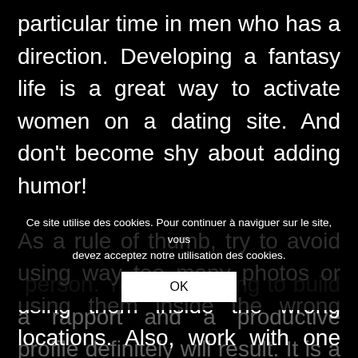particular time in men who has a direction. Developing a fantasy life is a great way to activate women on a dating site. And don't become shy about adding humor!
As a rule of thumb, try to avoid using way too many photos or using them inside the wrong locations. Also, work with one photography in the same location for every page. Avoid using hats or perhaps hairy photos. This way, women who read your profile would not know what to expect a person. You're planning to build a rapport and a productive profile definitely will result. It is a first step to building a particular
Ce site utilise des cookies. Pour continuer à naviguer sur le site, vous devez acceptez notre utilisation des cookies.
OK